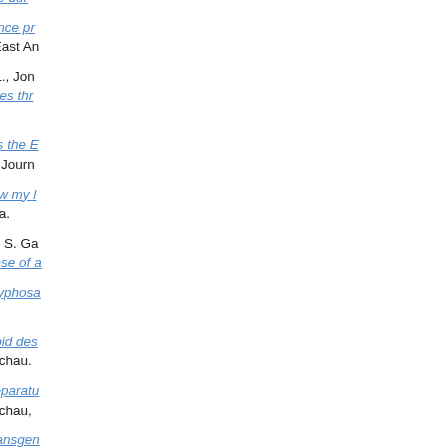interactions for haptic guidance dur... [truncated/cut off at top]
Stella, Marianna (2018) Sentence pr... Doctoral thesis, University of East An...
Stentz, Régis, Carvalho, Ana L., Jon... microbiota-derived microvesicles thr... 5127
Stephan, Andreas (2018) Does the E... University of Queensland Law Journ...
Stephenson, Lisa (2018) Follow my l... thesis, University of East Anglia.
Stephenson, Lisa J., Edwards, S. Ga... leading induces an implicit sense of a...
Steverding, Dietmar (2018) Glyphosa... 552-554. ISSN 0028-1050
Steverding, Dietmar (2018) Lipid des... Naturwissenschaftliche Rundschau.
Steverding, Dietmar (2018) Reparatu... Naturwissenschaftliche Rundschau.
Steverding, Dietmar (2018) Transgen... Naturwissenschaftliche Rundschau.
Steverding, Dietmar (2018) Wie der l... Naturwissenschaftliche Rundschau.